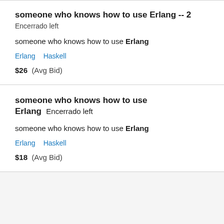someone who knows how to use Erlang -- 2
Encerrado left
someone who knows how to use Erlang
Erlang   Haskell
$26  (Avg Bid)
someone who knows how to use Erlang  Encerrado left
someone who knows how to use Erlang
Erlang   Haskell
$18  (Avg Bid)